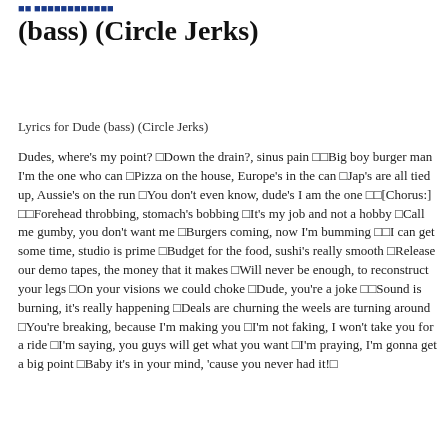(bass) (Circle Jerks)
Lyrics for Dude (bass) (Circle Jerks)
Dudes, where's my point? ▁Down the drain?, sinus pain ▁▁Big boy burger man I'm the one who can ▁Pizza on the house, Europe's in the can ▁Jap's are all tied up, Aussie's on the run ▁You don't even know, dude's I am the one ▁▁[Chorus:] ▁▁Forehead throbbing, stomach's bobbing ▁It's my job and not a hobby ▁Call me gumby, you don't want me ▁Burgers coming, now I'm bumming ▁▁I can get some time, studio is prime ▁Budget for the food, sushi's really smooth ▁Release our demo tapes, the money that it makes ▁Will never be enough, to reconstruct your legs ▁On your visions we could choke ▁Dude, you're a joke ▁▁Sound is burning, it's really happening ▁Deals are churning the weels are turning around ▁You're breaking, because I'm making you ▁I'm not faking, I won't take you for a ride ▁I'm saying, you guys will get what you want ▁I'm praying, I'm gonna get a big point ▁Baby it's in your mind, 'cause you never had it!▁